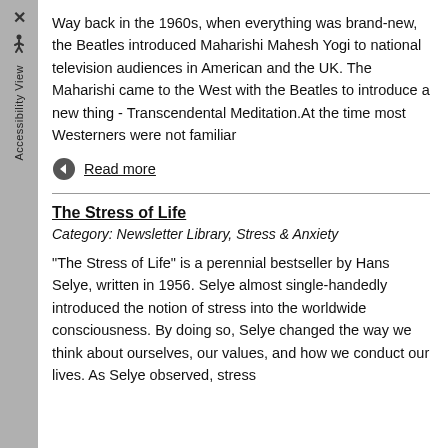Way back in the 1960s, when everything was brand-new, the Beatles introduced Maharishi Mahesh Yogi to national television audiences in American and the UK. The Maharishi came to the West with the Beatles to introduce a new thing - Transcendental Meditation.At the time most Westerners were not familiar
Read more
The Stress of Life
Category: Newsletter Library, Stress & Anxiety
"The Stress of Life" is a perennial bestseller by Hans Selye, written in 1956. Selye almost single-handedly introduced the notion of stress into the worldwide consciousness. By doing so, Selye changed the way we think about ourselves, our values, and how we conduct our lives. As Selye observed, stress